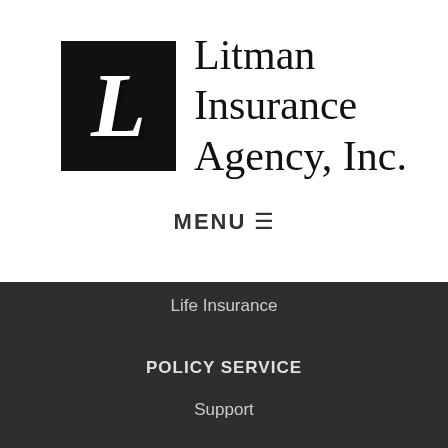[Figure (logo): Litman Insurance Agency, Inc. logo: black square with white letter L, followed by company name in serif font]
MENU ☰
Life Insurance
POLICY SERVICE
Support